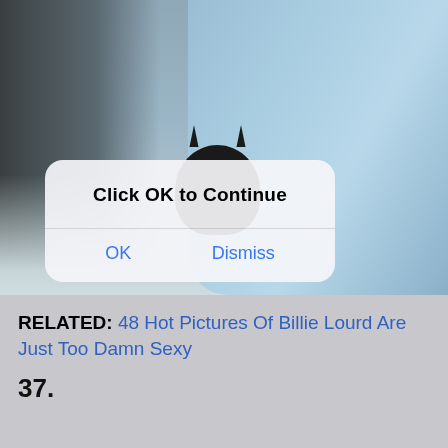[Figure (screenshot): A blurry indoor scene with a person in a blue jacket and a black cat, overlaid with a mobile dialog box saying 'Click OK to Continue' with OK and Dismiss buttons.]
RELATED: 48 Hot Pictures Of Billie Lourd Are Just Too Damn Sexy
37.